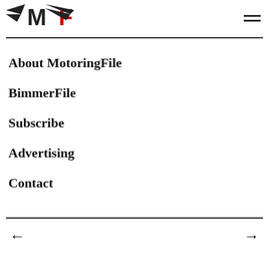MotoringFile logo and hamburger menu
About MotoringFile
BimmerFile
Subscribe
Advertising
Contact